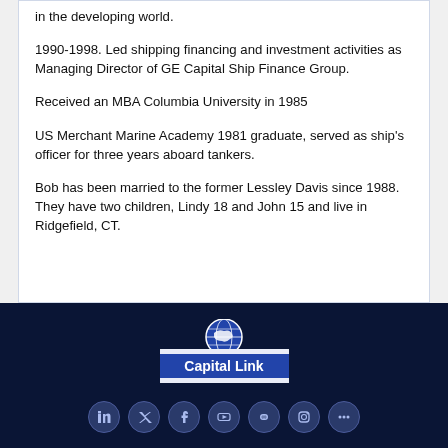in the developing world.
1990-1998. Led shipping financing and investment activities as Managing Director of GE Capital Ship Finance Group.
Received an MBA Columbia University in 1985
US Merchant Marine Academy 1981 graduate, served as ship's officer for three years aboard tankers.
Bob has been married to the former Lessley Davis since 1988. They have two children, Lindy 18 and John 15 and live in Ridgefield, CT.
[Figure (logo): Capital Link logo — blue rectangle with globe icon above, white text 'Capital Link' below, on dark navy background]
[Figure (other): Row of social media icons (LinkedIn, Twitter/X, Facebook, YouTube, and others) in circular buttons on dark navy background]